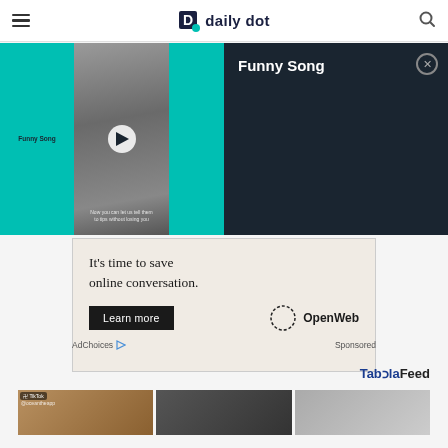daily dot
[Figure (screenshot): Video player panel showing 'Funny Song' TikTok video with teal background, play button thumbnail, and dark overlay with title and close button]
[Figure (screenshot): OpenWeb advertisement: 'It's time to save online conversation.' with Learn more button and OpenWeb logo]
AdChoices   Sponsored
[Figure (logo): Taboola Feed logo]
[Figure (screenshot): Bottom content feed showing three thumbnail images from TikTok and other sources]